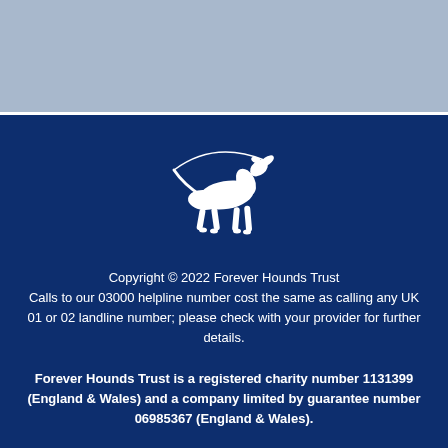[Figure (logo): White greyhound/hound dog logo on dark navy background, with a curved line suggesting a leash or motion arc]
Copyright © 2022 Forever Hounds Trust
Calls to our 03000 helpline number cost the same as calling any UK 01 or 02 landline number; please check with your provider for further details.
Forever Hounds Trust is a registered charity number 1131399 (England & Wales) and a company limited by guarantee number 06985367 (England & Wales).
Website by Callia Web